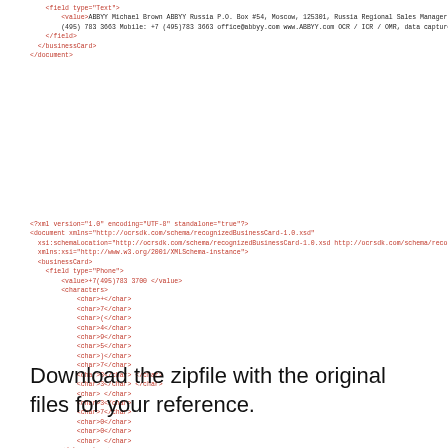XML code snippet showing field type Text with ABBYY business card data, then closing tags
XML code snippet showing document declaration, businessCard, field type Phone with value +7(495)783 3700 and characters, then field type Fax with value +7 (495) 783 3663 and characters
Download the zipfile with the original files for your reference.